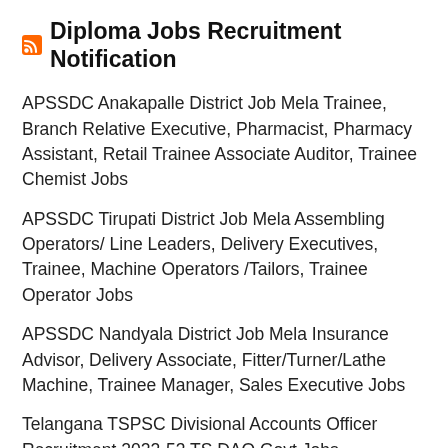Diploma Jobs Recruitment Notification
APSSDC Anakapalle District Job Mela Trainee, Branch Relative Executive, Pharmacist, Pharmacy Assistant, Retail Trainee Associate Auditor, Trainee Chemist Jobs
APSSDC Tirupati District Job Mela Assembling Operators/ Line Leaders, Delivery Executives, Trainee, Machine Operators /Tailors, Trainee Operator Jobs
APSSDC Nandyala District Job Mela Insurance Advisor, Delivery Associate, Fitter/Turner/Lathe Machine, Trainee Manager, Sales Executive Jobs
Telangana TSPSC Divisional Accounts Officer Recruitment 2022-53 TS DAO Govt Jobs Notification 2022
AIESL Aircraft Technician, Skilled Tradesman Recruitment Notification 2017 94 Jobs Walk In Interview
TCC Travancore Cochin Chemicals Operator, Helper, Fitter